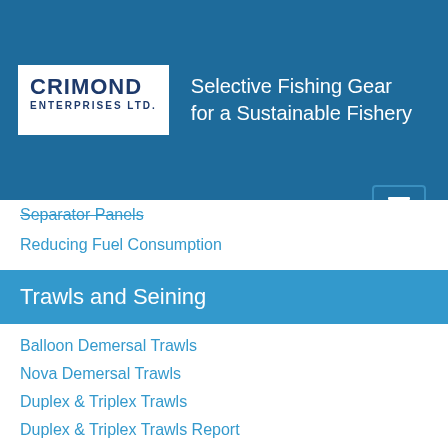[Figure (logo): Crimond Enterprises Ltd. logo with wave design and tagline 'Selective Fishing Gear for a Sustainable Fishery' on blue background with hamburger menu button]
Separator Panels
Reducing Fuel Consumption
Trawls and Seining
Balloon Demersal Trawls
Nova Demersal Trawls
Duplex & Triplex Trawls
Duplex & Triplex Trawls Report
Twin Trawls
Trawl Ancillary Gear
Ricer Doors